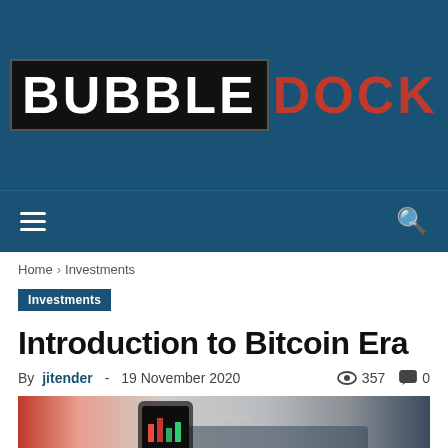[Figure (logo): BubbleDock website logo — BUBBLE in white on black background, DOCK in red, on dark blue header]
Navigation bar with hamburger menu and search icon
Home › Investments
Investments
Introduction to Bitcoin Era
By jitender - 19 November 2020   357   0
[Figure (photo): Photo of a person holding a smartphone with trading app showing red and green candlestick charts, with a MacBook Air laptop keyboard visible in the background]